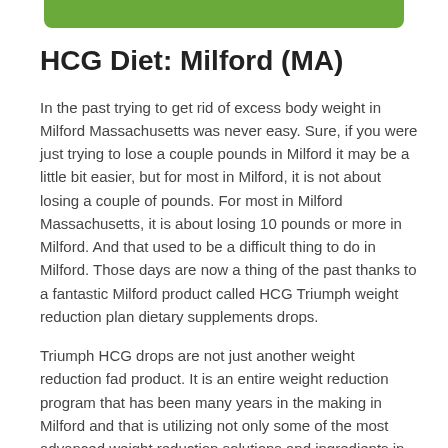HCG Diet: Milford (MA)
In the past trying to get rid of excess body weight in Milford Massachusetts was never easy. Sure, if you were just trying to lose a couple pounds in Milford it may be a little bit easier, but for most in Milford, it is not about losing a couple of pounds. For most in Milford Massachusetts, it is about losing 10 pounds or more in Milford. And that used to be a difficult thing to do in Milford. Those days are now a thing of the past thanks to a fantastic Milford product called HCG Triumph weight reduction plan dietary supplements drops.
Triumph HCG drops are not just another weight reduction fad product. It is an entire weight reduction program that has been many years in the making in Milford and that is utilizing not only some of the most advanced weight reduction solutions and ingredients in the world of natural weight reduction, but Triumph HCG drops also use the most advanced solutions in Milford MA in nutrition and proper maintenance of weight management. Together, it makes for a Massachusetts weight reduction program that is very effective and that is also incredibly quick in Milford. With the